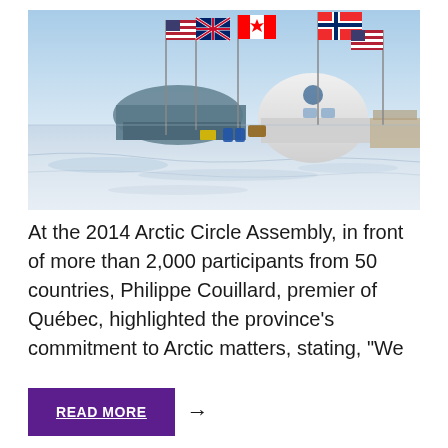[Figure (photo): Arctic research station with multiple national flags (USA, UK, Canada, Norway) on flagpoles, dome-shaped and other structures visible, surrounded by snow and ice under a clear blue sky.]
At the 2014 Arctic Circle Assembly, in front of more than 2,000 participants from 50 countries, Philippe Couillard, premier of Québec, highlighted the province's commitment to Arctic matters, stating, “We
READ MORE →